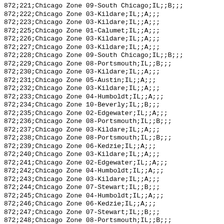872;221;Chicago Zone 09-South Chicago;IL;;B;;;
872;222;Chicago Zone 03-Kildare;IL;;A;;;
872;223;Chicago Zone 03-Kildare;IL;;A;;;
872;225;Chicago Zone 01-Calumet;IL;;A;;;
872;226;Chicago Zone 03-Kildare;IL;;A;;;
872;227;Chicago Zone 03-Kildare;IL;;A;;;
872;228;Chicago Zone 09-South Chicago;IL;;B;;;
872;229;Chicago Zone 08-Portsmouth;IL;;B;;;
872;230;Chicago Zone 03-Kildare;IL;;A;;;
872;231;Chicago Zone 05-Austin;IL;;A;;;
872;232;Chicago Zone 03-Kildare;IL;;A;;;
872;233;Chicago Zone 04-Humboldt;IL;;A;;;
872;234;Chicago Zone 10-Beverly;IL;;B;;;
872;235;Chicago Zone 02-Edgewater;IL;;A;;;
872;236;Chicago Zone 08-Portsmouth;IL;;B;;;
872;237;Chicago Zone 03-Kildare;IL;;A;;;
872;238;Chicago Zone 08-Portsmouth;IL;;B;;;
872;239;Chicago Zone 06-Kedzie;IL;;A;;;
872;240;Chicago Zone 03-Kildare;IL;;A;;;
872;241;Chicago Zone 02-Edgewater;IL;;A;;;
872;242;Chicago Zone 04-Humboldt;IL;;A;;;
872;243;Chicago Zone 03-Kildare;IL;;A;;;
872;244;Chicago Zone 07-Stewart;IL;;B;;;
872;245;Chicago Zone 04-Humboldt;IL;;A;;;
872;246;Chicago Zone 06-Kedzie;IL;;A;;;
872;247;Chicago Zone 07-Stewart;IL;;B;;;
872;248;Chicago Zone 08-Portsmouth;IL;;B;;;
872;249;Chicago Zone 01-Calumet;IL;;A;;;
872;250;Chicago Zone 01-Calumet;IL;;A;;;
872;251;Chicago Zone 08-Portsmouth;IL;;B;;;
872;252;Chicago Zone 08-Portsmouth;IL;;B;;;